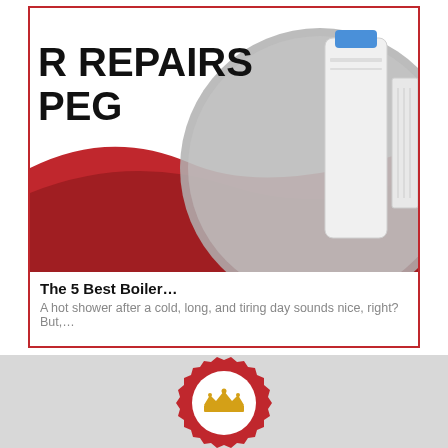[Figure (screenshot): Card with image of boiler repair equipment — a cylindrical heat pump/boiler unit in white with a blue top component, against a red wave graphic background. Partial text overlay reads 'R REPAIRS' and 'PEG' in bold black on white.]
The 5 Best Boiler…
A hot shower after a cold, long, and tiring day sounds nice, right? But,…
[Figure (logo): Partial red badge/seal logo with a gold crown icon, visible at bottom of page on grey background.]